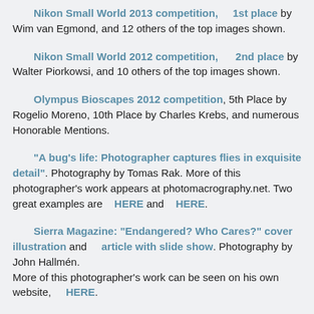Nikon Small World 2013 competition, 1st place by Wim van Egmond, and 12 others of the top images shown.
Nikon Small World 2012 competition, 2nd place by Walter Piorkowsi, and 10 others of the top images shown.
Olympus Bioscapes 2012 competition, 5th Place by Rogelio Moreno, 10th Place by Charles Krebs, and numerous Honorable Mentions.
"A bug's life: Photographer captures flies in exquisite detail". Photography by Tomas Rak. More of this photographer's work appears at photomacrography.net. Two great examples are HERE and HERE.
Sierra Magazine: "Endangered? Who Cares?" cover illustration and article with slide show. Photography by John Hallmén. More of this photographer's work can be seen on his own website, HERE.
Olympus Bioscapes 2013 competition, 4th...